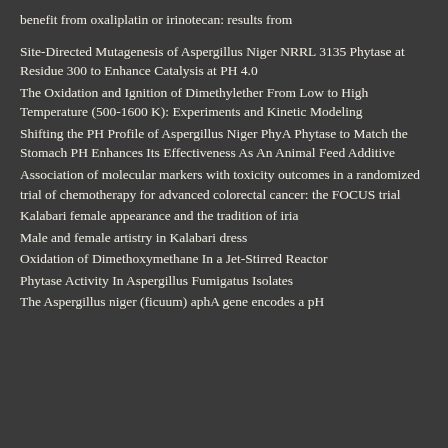benefit from oxaliplatin or irinotecan: results from
Site-Directed Mutagenesis of Aspergillus Niger NRRL 3135 Phytase at Residue 300 to Enhance Catalysis at PH 4.0
The Oxidation and Ignition of Dimethylether From Low to High Temperature (500-1600 K): Experiments and Kinetic Modeling
Shifting the PH Profile of Aspergillus Niger PhyA Phytase to Match the Stomach PH Enhances Its Effectiveness As An Animal Feed Additive
Association of molecular markers with toxicity outcomes in a randomized trial of chemotherapy for advanced colorectal cancer: the FOCUS trial
Kalabari female appearance and the tradition of iria
Male and female artistry in Kalabari dress
Oxidation of Dimethoxymethane In a Jet-Stirred Reactor
Phytase Activity In Aspergillus Fumigatus Isolates
The Aspergillus niger (ficuum) aphA gene encodes a pH